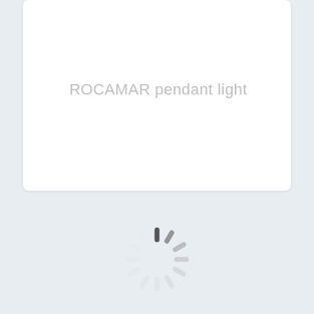ROCAMAR pendant light
[Figure (other): Loading spinner (circular animated loader) centered on the page]